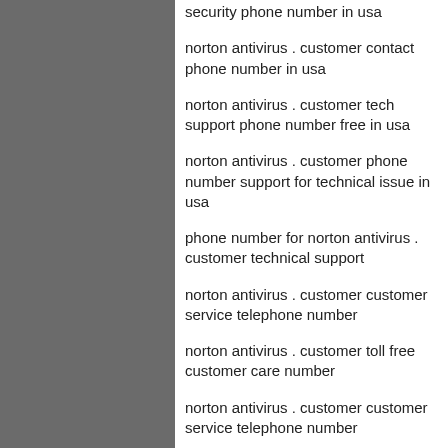[Figure (photo): Dark grayscale photograph showing industrial or infrastructure elements, partially visible on the left side of the page.]
security phone number in usa
norton antivirus . customer contact phone number in usa
norton antivirus . customer tech support phone number free in usa
norton antivirus . customer phone number support for technical issue in usa
phone number for norton antivirus . customer technical support
norton antivirus . customer customer service telephone number
norton antivirus . customer toll free customer care number
norton antivirus . customer customer service telephone number
norton antivirus . customer support telephone number